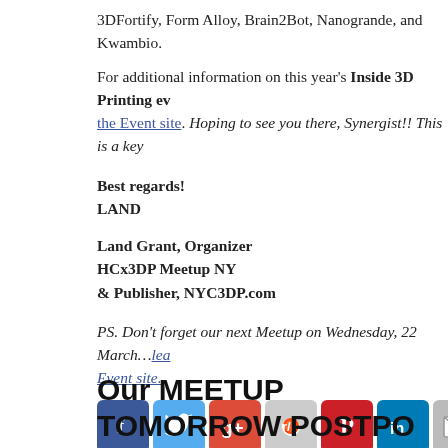3DFortify, Form Alloy, Brain2Bot, Nanogrande, and Kwambio.
For additional information on this year's Inside 3D Printing ev... the Event site. Hoping to see you there, Synergist!! This is a key
Best regards!
LAND

Land Grant, Organizer
HCx3DP Meetup NY
& Publisher, NYC3DP.com
PS. Don't forget our next Meetup on Wednesday, 22 March…lea... Event site.
[Figure (infographic): Row of 7 social media sharing icon buttons: Facebook (blue), Twitter (light blue), Google+ (red), Reddit (gray), Pinterest (red), LinkedIn (blue), Email (gray)]
Posted in Uncategorized | Leave a comment
Our MEETUP TOMORROW POSTPO